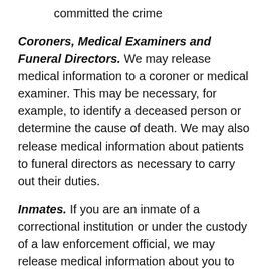committed the crime
Coroners, Medical Examiners and Funeral Directors. We may release medical information to a coroner or medical examiner. This may be necessary, for example, to identify a deceased person or determine the cause of death. We may also release medical information about patients to funeral directors as necessary to carry out their duties.
Inmates. If you are an inmate of a correctional institution or under the custody of a law enforcement official, we may release medical information about you to the correctional institution or law enforcement official. This release would be necessary for the institution to provide you with health care, to protect your health and safety or the health and safety of